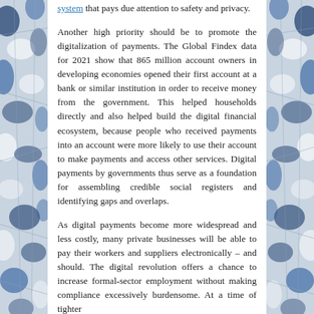system that pays due attention to safety and privacy.
Another high priority should be to promote the digitalization of payments. The Global Findex data for 2021 show that 865 million account owners in developing economies opened their first account at a bank or similar institution in order to receive money from the government. This helped households directly and also helped build the digital financial ecosystem, because people who received payments into an account were more likely to use their account to make payments and access other services. Digital payments by governments thus serve as a foundation for assembling credible social registers and identifying gaps and overlaps.
As digital payments become more widespread and less costly, many private businesses will be able to pay their workers and suppliers electronically – and should. The digital revolution offers a chance to increase formal-sector employment without making compliance excessively burdensome. At a time of tighter